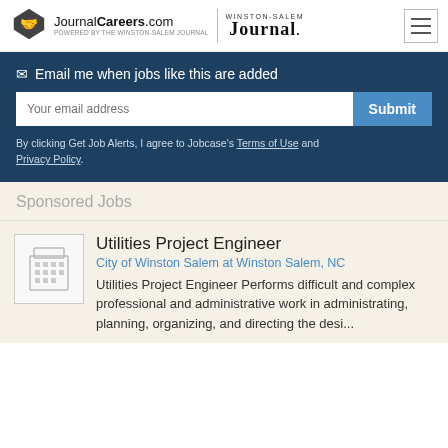JournalCareers.com POWERED BY THE WINSTON-SALEM JOURNAL | WINSTON-SALEM JOURNAL
Email me when jobs like this are added
Your email address
Submit
By clicking Get Job Alerts, I agree to Jobcase's Terms of Use and Privacy Policy.
Sponsored Jobs
Utilities Project Engineer
City of Winston Salem at Winston Salem, NC
Utilities Project Engineer Performs difficult and complex professional and administrative work in administrating, planning, organizing, and directing the desi...